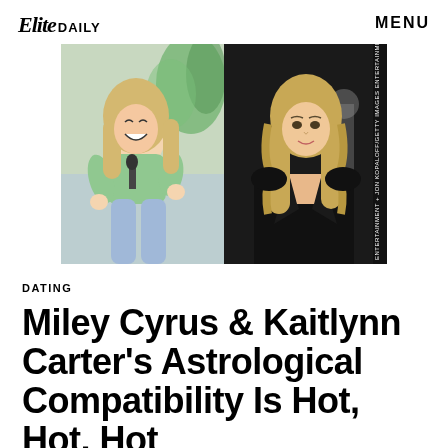Elite DAILY    MENU
[Figure (photo): Two-panel photo: left panel shows a woman with long blonde hair laughing and holding a microphone, wearing a green t-shirt, seated indoors with plants in background; right panel shows a woman with long blonde wavy hair wearing a black blazer at a formal event]
ENTERTAINMENT + JON KOPALOFF/GETTY IMAGES ENTERTAINMENT
DATING
Miley Cyrus & Kaitlynn Carter's Astrological Compatibility Is Hot, Hot, Hot